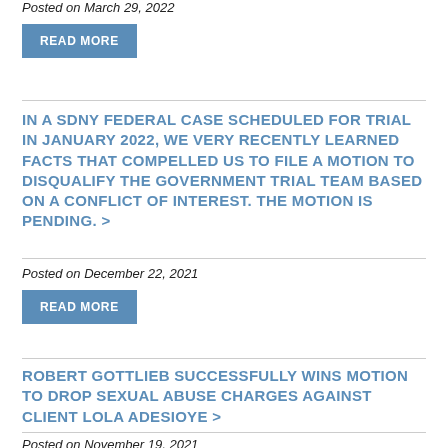Posted on March 29, 2022
READ MORE
IN A SDNY FEDERAL CASE SCHEDULED FOR TRIAL IN JANUARY 2022, WE VERY RECENTLY LEARNED FACTS THAT COMPELLED US TO FILE A MOTION TO DISQUALIFY THE GOVERNMENT TRIAL TEAM BASED ON A CONFLICT OF INTEREST. THE MOTION IS PENDING. >
Posted on December 22, 2021
READ MORE
ROBERT GOTTLIEB SUCCESSFULLY WINS MOTION TO DROP SEXUAL ABUSE CHARGES AGAINST CLIENT LOLA ADESIOYE >
Posted on November 19, 2021